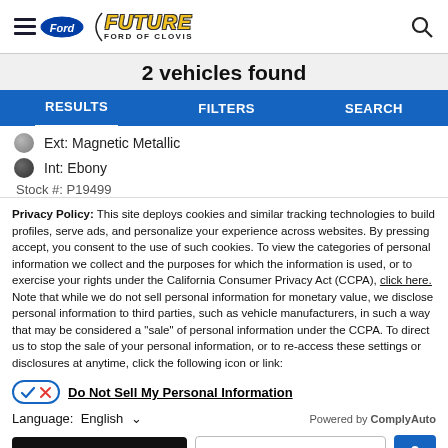Future Ford of Clovis — hamburger menu, Ford logo, dealership logo, search icon
2 vehicles found
RESULTS   FILTERS   SEARCH
Ext: Magnetic Metallic
Int: Ebony
Stock #: P19499
Privacy Policy: This site deploys cookies and similar tracking technologies to build profiles, serve ads, and personalize your experience across websites. By pressing accept, you consent to the use of such cookies. To view the categories of personal information we collect and the purposes for which the information is used, or to exercise your rights under the California Consumer Privacy Act (CCPA), click here. Note that while we do not sell personal information for monetary value, we disclose personal information to third parties, such as vehicle manufacturers, in such a way that may be considered a "sale" of personal information under the CCPA. To direct us to stop the sale of your personal information, or to re-access these settings or disclosures at anytime, click the following icon or link:
Do Not Sell My Personal Information
Language: English   Powered by ComplyAuto
Accept and Continue →   California Privacy Disclosures